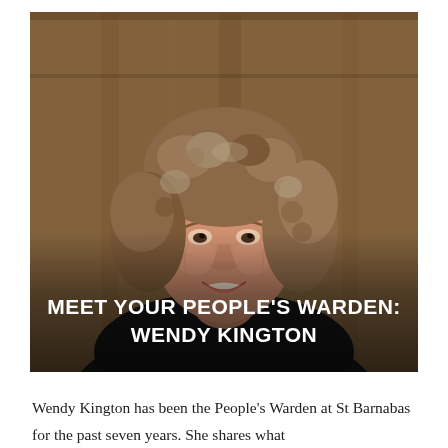[Figure (photo): Portrait photo of Wendy Kington, an older woman with curly grey-brown hair, smiling, wearing a black top, standing in front of a wooden background. Overlaid text on the lower portion of the image reads 'MEET YOUR PEOPLE'S WARDEN: WENDY KINGTON' in bold white uppercase letters.]
Wendy Kington has been the People's Warden at St Barnabas for the past seven years. She shares what